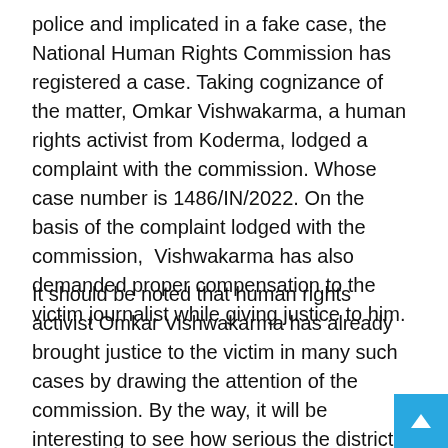police and implicated in a fake case, the National Human Rights Commission has registered a case. Taking cognizance of the matter, Omkar Vishwakarma, a human rights activist from Koderma, lodged a complaint with the commission. Whose case number is 1486/IN/2022. On the basis of the complaint lodged with the commission, Vishwakarma has also demanded proper compensation to the victim journalist while giving justice to him.
It should be noted that human rights activist Omkar Vishwakarma has already brought justice to the victim in many such cases by drawing the attention of the commission. By the way, it will be interesting to see how serious the district police and administration shows on the matter. Earlier, Ranchi MP Sanjay Seth and BJP state spokesperson have also raised the demand to take action against the accused policemen through a tweet on the matter.